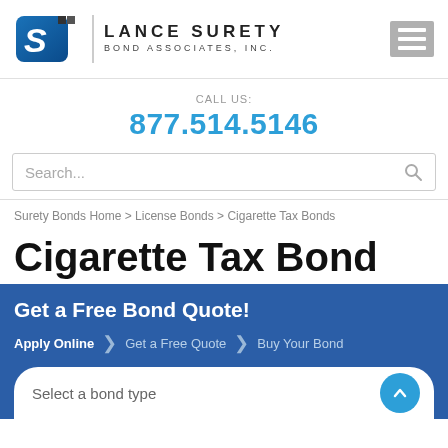[Figure (logo): Lance Surety Bond Associates, Inc. logo with LS stylized letter mark and company name]
CALL US:
877.514.5146
Search...
Surety Bonds Home > License Bonds > Cigarette Tax Bonds
Cigarette Tax Bond
Get a Free Bond Quote!
Apply Online > Get a Free Quote > Buy Your Bond
Select a bond type